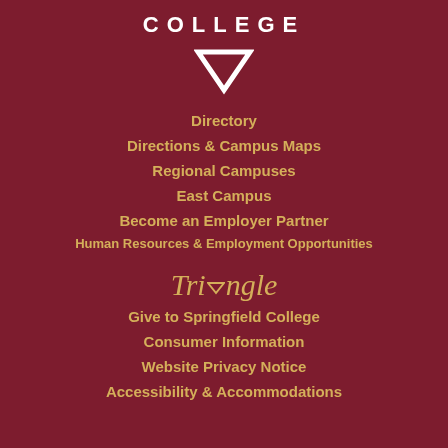COLLEGE
[Figure (illustration): White downward-pointing triangle/chevron logo icon]
Directory
Directions & Campus Maps
Regional Campuses
East Campus
Become an Employer Partner
Human Resources & Employment Opportunities
Triangle
Give to Springfield College
Consumer Information
Website Privacy Notice
Accessibility & Accommodations